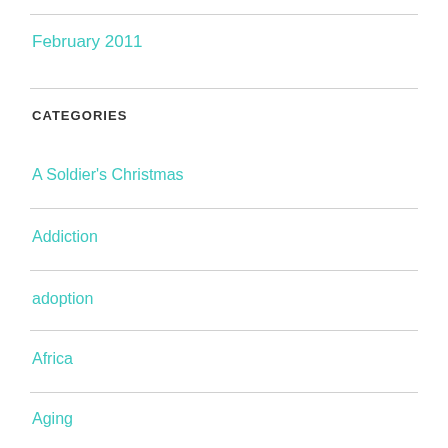February 2011
CATEGORIES
A Soldier's Christmas
Addiction
adoption
Africa
Aging